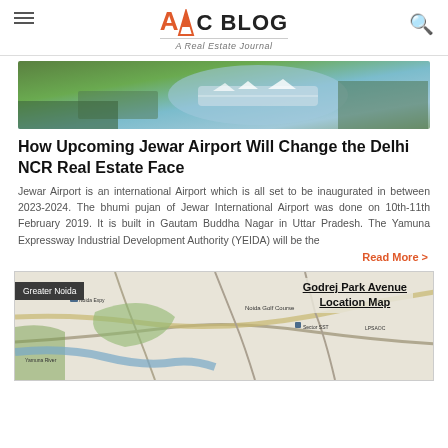AoC BLOG — A Real Estate Journal
[Figure (photo): Aerial view of Jewar International Airport showing terminal building and aircraft]
How Upcoming Jewar Airport Will Change the Delhi NCR Real Estate Face
Jewar Airport is an international Airport which is all set to be inaugurated in between 2023-2024. The bhumi pujan of Jewar International Airport was done on 10th-11th February 2019. It is built in Gautam Buddha Nagar in Uttar Pradesh. The Yamuna Expressway Industrial Development Authority (YEIDA) will be the
Read More >
[Figure (map): Godrej Park Avenue Location Map showing Greater Noida area with roads and landmarks]